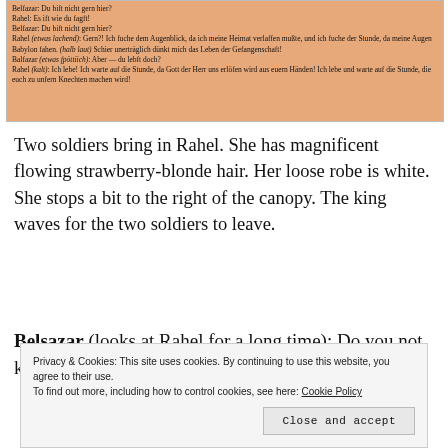[Figure (screenshot): Scanned page of a German-language play in Gothic/Fraktur script on an orange-tinted background. Dialogue between Rahel and Belsazar characters.]
Two soldiers bring in Rahel. She has magnificent flowing strawberry-blonde hair. Her loose robe is white. She stops a bit to the right of the canopy. The king waves for the two soldiers to leave.
Belsazar (looks at Rahel for a long time): Do you not know how to greet a king?
Privacy & Cookies: This site uses cookies. By continuing to use this website, you agree to their use.
To find out more, including how to control cookies, see here: Cookie Policy
[Close and accept]